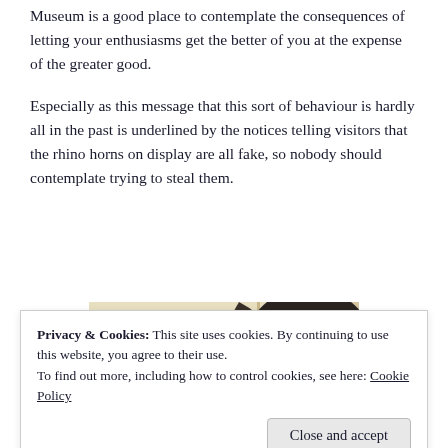Museum is a good place to contemplate the consequences of letting your enthusiasms get the better of you at the expense of the greater good.
Especially as this message that this sort of behaviour is hardly all in the past is underlined by the notices telling visitors that the rhino horns on display are all fake, so nobody should contemplate trying to steal them.
[Figure (photo): A dark silhouette of a rhinoceros head/horn against a light beige/cream background, partially cropped at the bottom of the image.]
Privacy & Cookies: This site uses cookies. By continuing to use this website, you agree to their use.
To find out more, including how to control cookies, see here: Cookie Policy